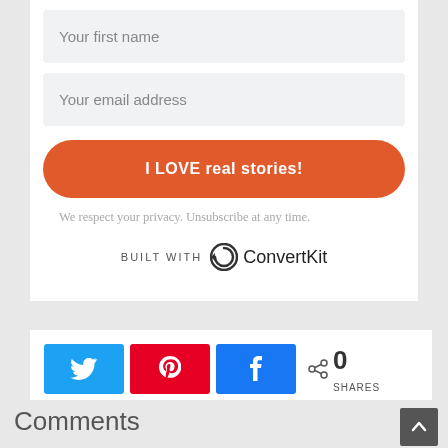Your first name
Your email address
I LOVE real stories!
We respect your privacy. Unsubscribe at any time.
[Figure (logo): ConvertKit logo with circular arrow icon and text 'ConvertKit', labeled 'BUILT WITH']
[Figure (infographic): Social share buttons: Twitter (blue), Pinterest (red), Facebook (blue), and share count showing 0 SHARES]
Comments